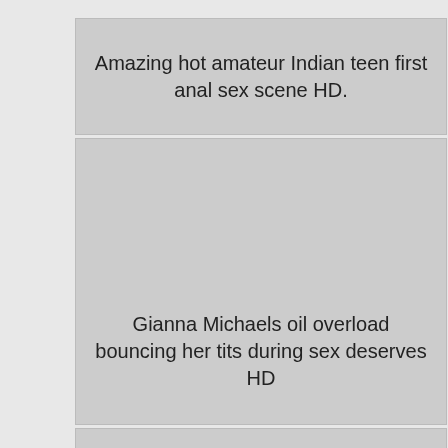Amazing hot amateur Indian teen first anal sex scene HD.
[Figure (other): Gray placeholder image block]
Gianna Michaels oil overload bouncing her tits during sex deserves HD
[Figure (other): Gray placeholder image block]